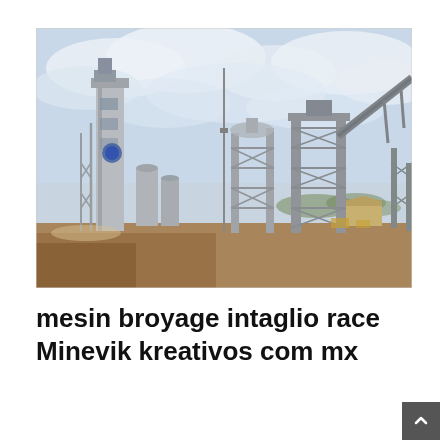[Figure (photo): Industrial cement or mining plant with tall steel structures, silos, conveyor belts, and processing towers under a cloudy sky. Foreground shows bare earth ground.]
mesin broyage intaglio race Minevik kreativos com mx